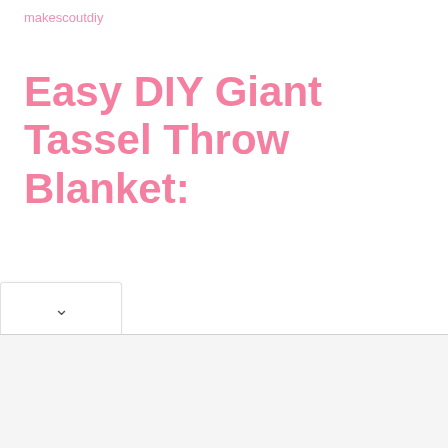makescoutdiy
Easy DIY Giant Tassel Throw Blanket: